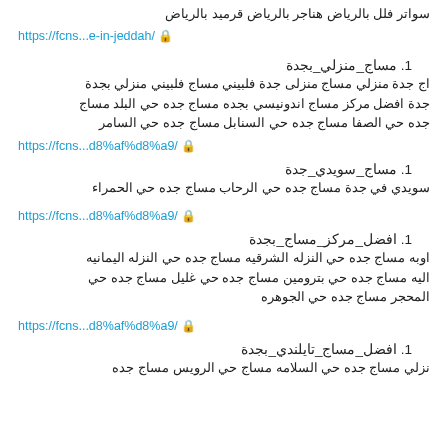سواتر فلل بالرياض هناجر بالرياض قرميد بالرياض
https://fcns...e-in-jeddah/ 🔒
1. مساج_منزلي_بجدة
اج جدة منزلي مساج منزلى جدة فلبيني مساج فلبيني منزلي بجدة
جدة افضل مركز مساج اندونيسي بجده مساج جده حي البلد مساج
جده حي الصفا مساج جده حي السنابل مساج جده حي السامر
https://fcns...d8%af%d8%a9/ 🔒
1. مساج_سويدي_جدة
سويدي في جدة مساج جده حي الرحاب مساج جده حي الحمراء
https://fcns...d8%af%d8%a9/ 🔒
1. افضل_مركز_مساج_بجدة
اوبه مساج جده حي النزله الشرقيه مساج جده حي النزله اليمانيه
اليه مساج جده حي بترومين مساج جده حي غليل مساج جده حي
المحجر مساج جده حي الجوهره
https://fcns...d8%af%d8%a9/ 🔒
1. افضل_مساج_تايلندي_بجدة
نزلي مساج جده حي السلامه مساج حي الرويس مساج جده